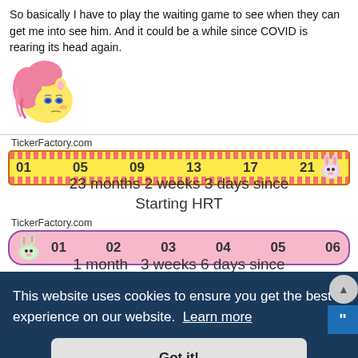So basically I have to play the waiting game to see when they can get me into see him. And it could be a while since COVID is rearing its head again.
[Figure (illustration): Fluttershy avatar from My Little Pony - pink-haired yellow pony with sad expression]
[Figure (infographic): TickerFactory.com progress bar - yellow striped bar with numbers 01 05 09 13 17 21 and bunny icon. Caption: 23 months 2 weeks 3 days since Starting HRT]
23 months 2 weeks 3 days since Starting HRT
[Figure (infographic): TickerFactory.com progress bar - pink bar with numbers 01 02 03 04 05 06 and bunny icon at start]
1 month  3 weeks 6 days since
This website uses cookies to ensure you get the best experience on our website.  Learn more
Got it!